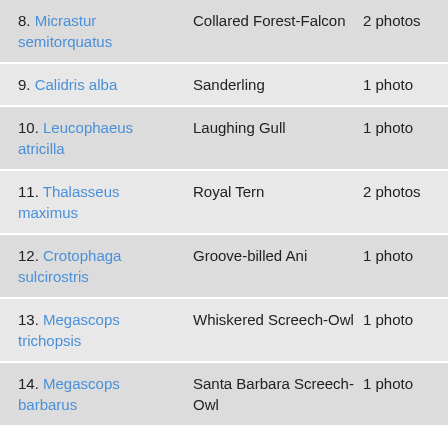8. Micrastur semitorquatus | Collared Forest-Falcon | 2 photos
9. Calidris alba | Sanderling | 1 photo
10. Leucophaeus atricilla | Laughing Gull | 1 photo
11. Thalasseus maximus | Royal Tern | 2 photos
12. Crotophaga sulcirostris | Groove-billed Ani | 1 photo
13. Megascops trichopsis | Whiskered Screech-Owl | 1 photo
14. Megascops barbarus | Santa Barbara Screech-Owl | 1 photo